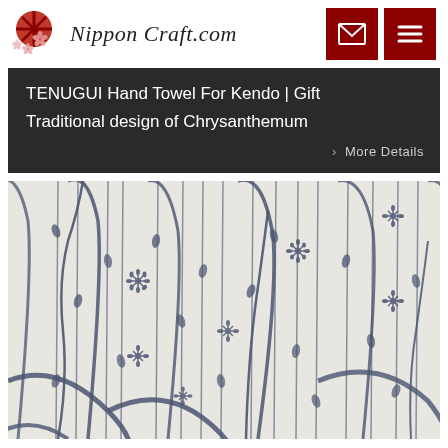Nippon Craft.com
TENUGUI Hand Towel For Kendo | Gift
Traditional design of Chrysanthemum
> More Details
[Figure (photo): Close-up photo of a Japanese tenugui (hand towel) fabric with a traditional blue and white chrysanthemum and weeping willow pattern printed on white cotton]